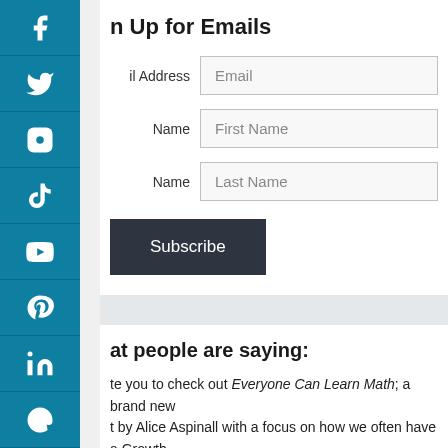Sign Up for Emails
Email Address [Email input field]
First Name [First Name input field]
Last Name [Last Name input field]
Subscribe
What people are saying:
...invite you to check out Everyone Can Learn Math; a brand new ...t by Alice Aspinall with a focus on how we often have a Growth ...dset when learning most everything in life... why not math, too?
Kyle Pearce, GECDSB Math Consultant, Founder of